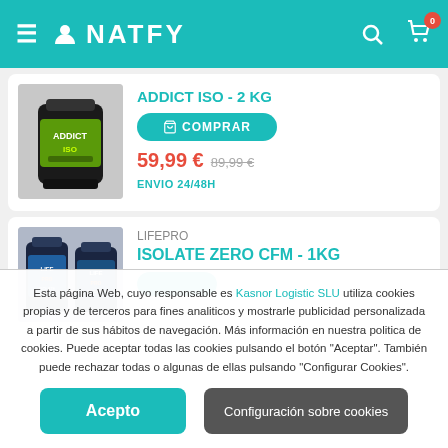NATFY
ADDICT ISO - 2 KG
COMPRAR
59,99 € 89,99 €
ENVIO 24/48H
LIFEPRO
ISOLATE ZERO CFM - 1KG
Esta página Web, cuyo responsable es Kasnor Logistic SLU utiliza cookies propias y de terceros para fines analiticos y mostrarle publicidad personalizada a partir de sus hábitos de navegación. Más información en nuestra politica de cookies. Puede aceptar todas las cookies pulsando el botón "Aceptar". También puede rechazar todas o algunas de ellas pulsando "Configurar Cookies".
Acepto
Configuración sobre cookies